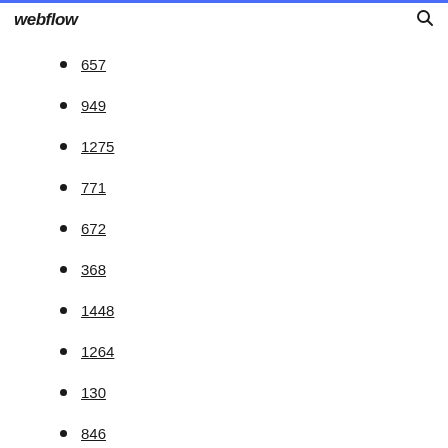webflow
657
949
1275
771
672
368
1448
1264
130
846
904
341